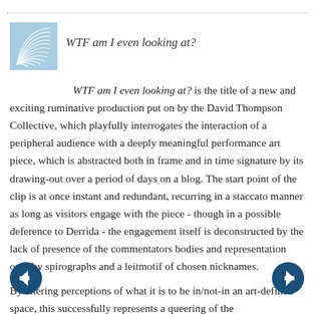[Figure (logo): Blue fan/shell spirograph logo for David Thompson Collective]
WTF am I even looking at?
WTF am I even looking at? is the title of a new and exciting ruminative production put on by the David Thompson Collective, which playfully interrogates the interaction of a peripheral audience with a deeply meaningful performance art piece, which is abstracted both in frame and in time signature by its drawing-out over a period of days on a blog. The start point of the clip is at once instant and redundant, recurring in a staccato manner as long as visitors engage with the piece - though in a possible deference to Derrida - the engagement itself is deconstructed by the lack of presence of the commentators bodies and representation only by spirographs and a leitmotif of chosen nicknames.
By altering perceptions of what it is to be in/not-in an art-defined space, this successfully represents a queering of the